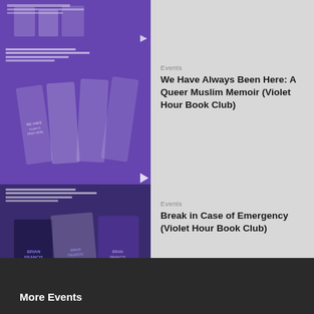[Figure (photo): Partial purple event thumbnail at top]
[Figure (photo): Purple Violet Hour Book Club thumbnail for 'We Have Always Been Here' by Samra Habib, showing book covers]
Events
We Have Always Been Here: A Queer Muslim Memoir (Violet Hour Book Club)
[Figure (photo): Dark purple Violet Hour Book Club thumbnail for 'Break in Case of Emergency' by Brian Francis, showing book covers]
Events
Break in Case of Emergency (Violet Hour Book Club)
[Figure (photo): Purple Violet Hour Book Club thumbnail for 'The City and the Pillar' by Gore Vidal, showing book covers]
Events
The City and the Pillar (Violet Hour Book Club)
More Events